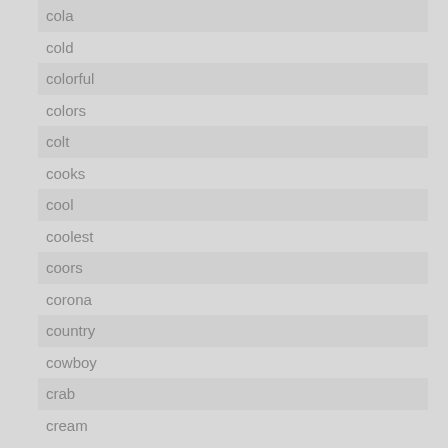cola
cold
colorful
colors
colt
cooks
cool
coolest
coors
corona
country
cowboy
crab
cream